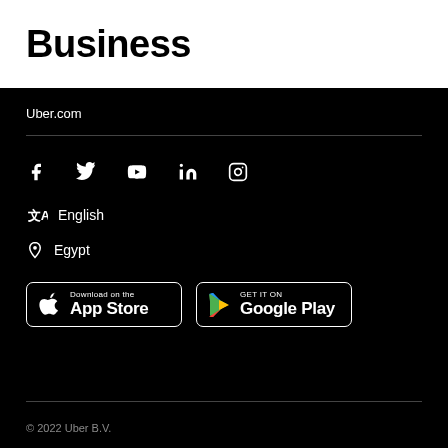Business
Uber.com
[Figure (illustration): Social media icons row: Facebook, Twitter, YouTube, LinkedIn, Instagram]
English
Egypt
[Figure (illustration): Download on the App Store button]
[Figure (illustration): Get it on Google Play button]
© 2022 Uber B.V.